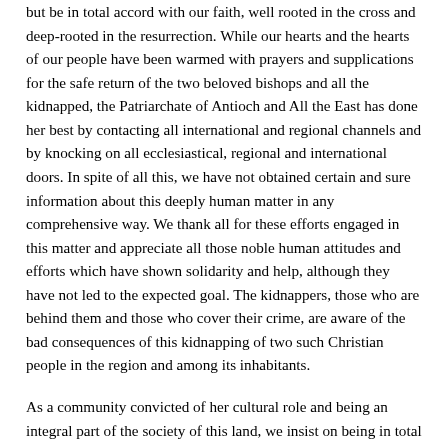but be in total accord with our faith, well rooted in the cross and deep-rooted in the resurrection. While our hearts and the hearts of our people have been warmed with prayers and supplications for the safe return of the two beloved bishops and all the kidnapped, the Patriarchate of Antioch and All the East has done her best by contacting all international and regional channels and by knocking on all ecclesiastical, regional and international doors. In spite of all this, we have not obtained certain and sure information about this deeply human matter in any comprehensive way. We thank all for these efforts engaged in this matter and appreciate all those noble human attitudes and efforts which have shown solidarity and help, although they have not led to the expected goal. The kidnappers, those who are behind them and those who cover their crime, are aware of the bad consequences of this kidnapping of two such Christian people in the region and among its inhabitants.
As a community convicted of her cultural role and being an integral part of the society of this land, we insist on being in total harmony with our historical legacy. We shall therefore remain deep-rooted in this land, always trying to remain as messengers of peace and dialogue. In spite of all, we condemn what has happened and we wonder at the absence of effective efforts to put an end to this painful reality. We also wonder much at the lack of information. We shall plan for continuing rounds of visits aiming to bring a good end to this matter as soon as possible. Silence does nothing but encourage us to demand